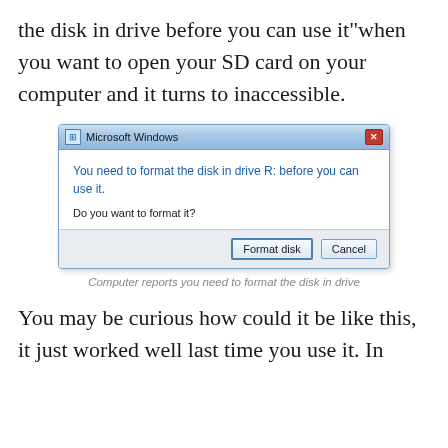the disk in drive before you can use it"when you want to open your SD card on your computer and it turns to inaccessible.
[Figure (screenshot): Microsoft Windows dialog box saying 'You need to format the disk in drive R: before you can use it. Do you want to format it?' with buttons 'Format disk' and 'Cancel']
Computer reports you need to format the disk in drive
You may be curious how could it be like this, it just worked well last time you use it. In